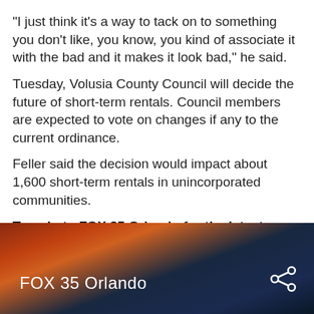"I just think it's a way to tack on to something you don't like, you know, you kind of associate it with the bad and it makes it look bad," he said.
Tuesday, Volusia County Council will decide the future of short-term rentals. Council members are expected to vote on changes if any to the current ordinance.
Feller said the decision would impact about 1,600 short-term rentals in unincorporated communities.
Tune in to FOX 35 Orlando for the latest Central Florida news.
[Figure (screenshot): FOX 35 Orlando video thumbnail with dark reddish-blue sunset sky background and share icon]